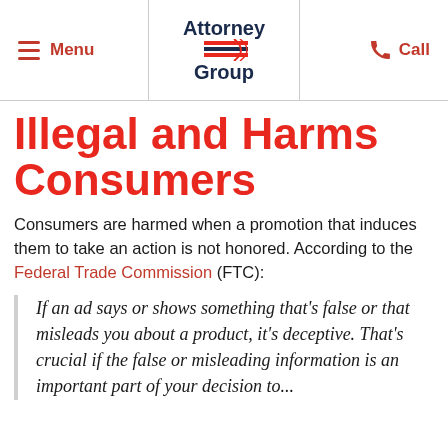Menu | Attorney Group | Call
Illegal and Harms Consumers
Consumers are harmed when a promotion that induces them to take an action is not honored. According to the Federal Trade Commission (FTC):
If an ad says or shows something that's false or that misleads you about a product, it's deceptive. That's crucial if the false or misleading information is an important part of your decision to...